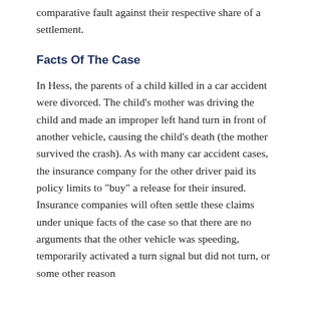comparative fault against their respective share of a settlement.
Facts Of The Case
In Hess, the parents of a child killed in a car accident were divorced. The child's mother was driving the child and made an improper left hand turn in front of another vehicle, causing the child's death (the mother survived the crash). As with many car accident cases, the insurance company for the other driver paid its policy limits to "buy" a release for their insured. Insurance companies will often settle these claims under unique facts of the case so that there are no arguments that the other vehicle was speeding, temporarily activated a turn signal but did not turn, or some other reason